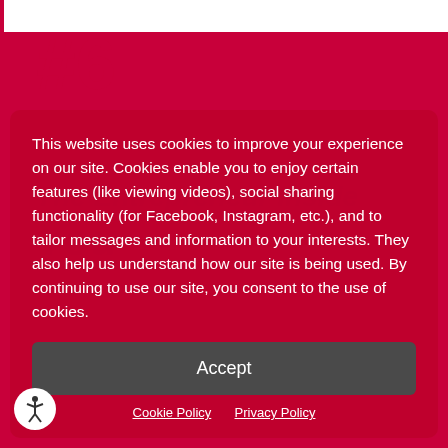#6
This website uses cookies to improve your experience on our site. Cookies enable you to enjoy certain features (like viewing videos), social sharing functionality (for Facebook, Instagram, etc.), and to tailor messages and information to your interests. They also help us understand how our site is being used. By continuing to use our site, you consent to the use of cookies.
Accept
Cookie Policy   Privacy Policy